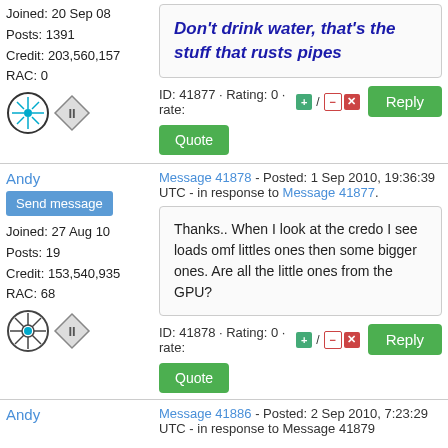Joined: 20 Sep 08
Posts: 1391
Credit: 203,560,157
RAC: 0
Don't drink water, that's the stuff that rusts pipes
ID: 41877 · Rating: 0 · rate: [+] / [-] [x]
Andy
Message 41878 - Posted: 1 Sep 2010, 19:36:39 UTC - in response to Message 41877.
Thanks.. When I look at the credo I see loads omf littles ones then some bigger ones. Are all the little ones from the GPU?
ID: 41878 · Rating: 0 · rate: [+] / [-] [x]
Andy
Message 41886 - Posted: 2 Sep 2010, 7:23:29 UTC - in response to Message 41879